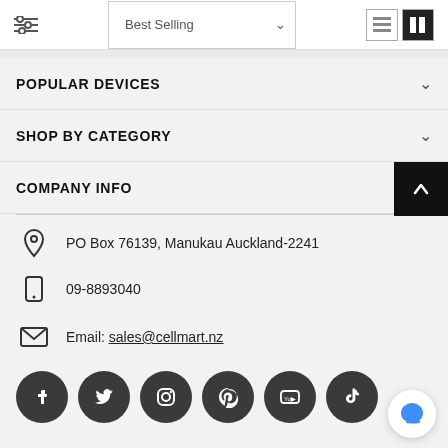Best Selling
POPULAR DEVICES
SHOP BY CATEGORY
COMPANY INFO
PO Box 76139, Manukau Auckland-2241
09-8893040
Email: sales@cellmart.nz
[Figure (other): Social media icons: Facebook, Twitter, Instagram, Pinterest, YouTube, TikTok]